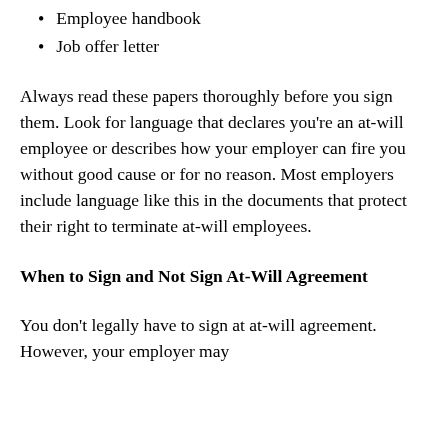Employee handbook
Job offer letter
Always read these papers thoroughly before you sign them. Look for language that declares you're an at-will employee or describes how your employer can fire you without good cause or for no reason. Most employers include language like this in the documents that protect their right to terminate at-will employees.
When to Sign and Not Sign At-Will Agreement
You don't legally have to sign at at-will agreement. However, your employer may